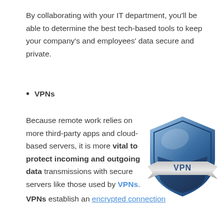By collaborating with your IT department, you'll be able to determine the best tech-based tools to keep your company's and employees' data secure and private.
VPNs
Because remote work relies on more third-party apps and cloud-based servers, it is more vital to protect incoming and outgoing data transmissions with secure servers like those used by VPNs.
[Figure (illustration): A blue shield with silver banner and VPN text, representing VPN security protection]
VPNs establish an encrypted connection